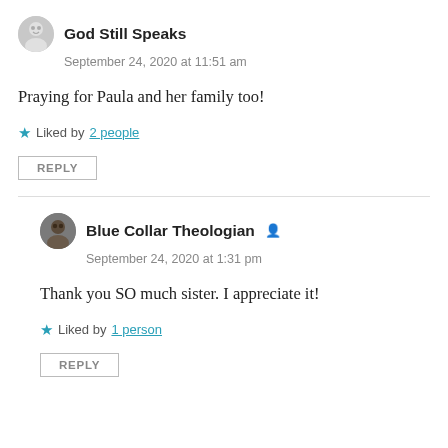[Figure (illustration): Avatar icon of God Still Speaks commenter]
God Still Speaks
September 24, 2020 at 11:51 am
Praying for Paula and her family too!
Liked by 2 people
REPLY
[Figure (photo): Avatar photo of Blue Collar Theologian commenter]
Blue Collar Theologian
September 24, 2020 at 1:31 pm
Thank you SO much sister. I appreciate it!
Liked by 1 person
REPLY